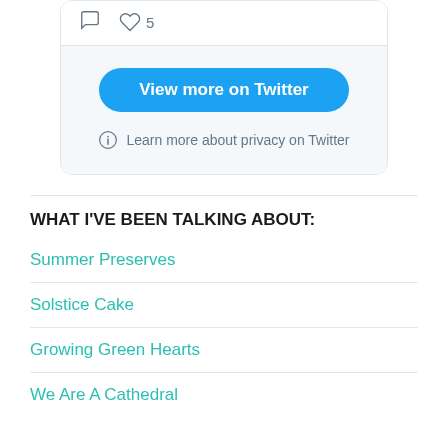[Figure (screenshot): Twitter embed widget showing comment and heart icons with count 5, a 'View more on Twitter' button, and a privacy note]
WHAT I'VE BEEN TALKING ABOUT:
Summer Preserves
Solstice Cake
Growing Green Hearts
We Are A Cathedral